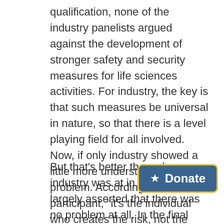qualification, none of the industry panelists argued against the development of stronger safety and security measures for life sciences activities. For industry, the key is that such measures be universal in nature, so that there is a level playing field for all involved. Now, if only industry showed a little more understanding of the problem. According to one participant, "it's the individual who creates the risk, not the technology." Well, no, it's the intersection of both.
But that's better than where industry was at in 2005, when it largely asserted that there was no problem at all. In the final analysis, the session with hard-hitting comments cut through much of the delicate language and pussyfooting that often surrounds discussions of biosecurity matters and the need for...